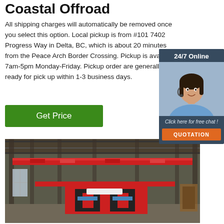Coastal Offroad
All shipping charges will automatically be removed once you select this option. Local pickup is from #101 7402 Progress Way in Delta, BC, which is about 20 minutes from the Peace Arch Border Crossing. Pickup is available 7am-5pm Monday-Friday. Pickup order are generally ready for pick up within 1-3 business days.
[Figure (other): A chat widget overlay with a customer service representative photo, '24/7 Online' header, 'Click here for free chat!' text, and an orange QUOTATION button]
Get Price
[Figure (photo): Interior of a large industrial warehouse or factory with red overhead cranes/equipment, steel roof structure, and industrial machinery]